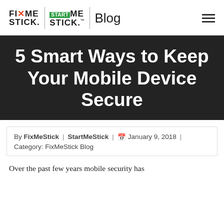FIXME STICK | STARTME STICK | Blog
5 Smart Ways to Keep Your Mobile Device Secure
By FixMeStick | StartMeStick | January 9, 2018 | Category: FixMeStick Blog
Over the past few years mobile security has